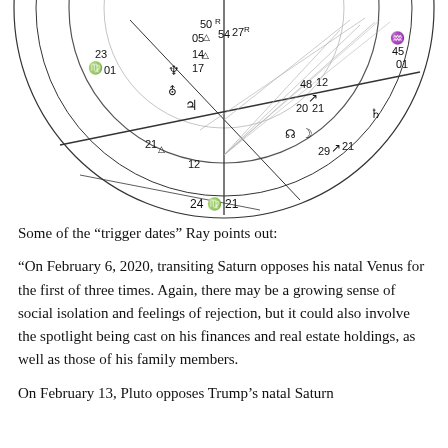[Figure (other): Astrological natal chart wheel showing partial view with planetary symbols, degree numbers, and aspect lines. Visible numbers include 23, 50, 54, 27, 45, 05, 14, 17, 21, 12, 48, 12, 20, 21, 29, 21, 24, 21, 01, 01. Planetary glyphs visible for Virgo, Libra, Aquarius, Capricorn, Scorpio, and planets Neptune, Pluto, Jupiter, Moon, North Node, Saturn.]
Some of the “trigger dates” Ray points out:
“On February 6, 2020, transiting Saturn opposes his natal Venus for the first of three times. Again, there may be a growing sense of social isolation and feelings of rejection, but it could also involve the spotlight being cast on his finances and real estate holdings, as well as those of his family members.
On February 13, Pluto opposes Trump’s natal Saturn